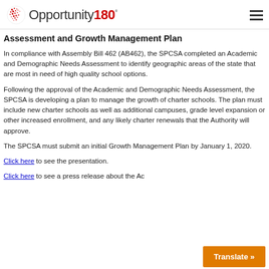Opportunity180°
Assessment and Growth Management Plan
In compliance with Assembly Bill 462 (AB462), the SPCSA completed an Academic and Demographic Needs Assessment to identify geographic areas of the state that are most in need of high quality school options.
Following the approval of the Academic and Demographic Needs Assessment, the SPCSA is developing a plan to manage the growth of charter schools. The plan must include new charter schools as well as additional campuses, grade level expansion or other increased enrollment, and any likely charter renewals that the Authority will approve.
The SPCSA must submit an initial Growth Management Plan by January 1, 2020.
Click here to see the presentation.
Click here to see a press release about the Ac